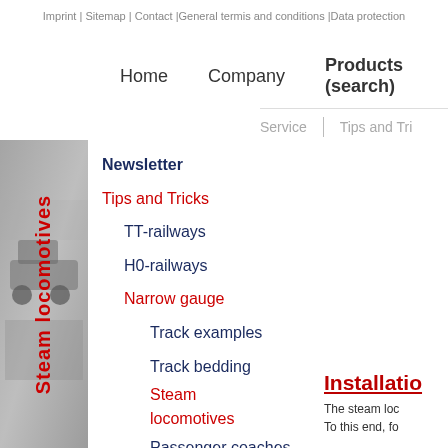Imprint | Sitemap | Contact |General termis and conditions |Data protection
Home
Company
Products (search)
Service
Tips and Tricks
[Figure (photo): Grayscale photo of a steam locomotive]
Steam locomotives
Newsletter
Tips and Tricks
TT-railways
H0-railways
Narrow gauge
Track examples
Track bedding
Steam locomotives
Passenger coaches
Tram track
General
Installation
The steam loc... To this end, fo...
The interface ... printed circuit...